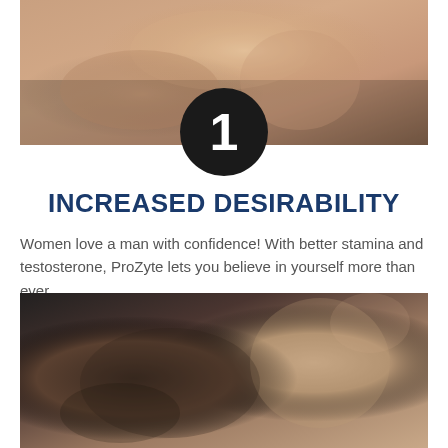[Figure (photo): Close-up photo of two people in an intimate embrace, skin tones visible, cropped to show torso area]
INCREASED DESIRABILITY
Women love a man with confidence! With better stamina and testosterone, ProZyte lets you believe in yourself more than ever.
[Figure (photo): Close-up photo of a couple in an intimate moment, a man and woman with faces close together, the woman's eyes closed]